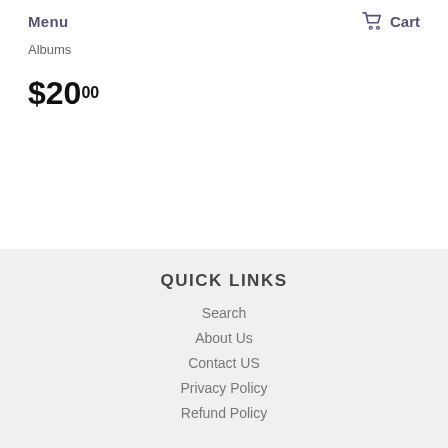Menu   Cart
Albums
$20.00
QUICK LINKS
Search
About Us
Contact US
Privacy Policy
Refund Policy